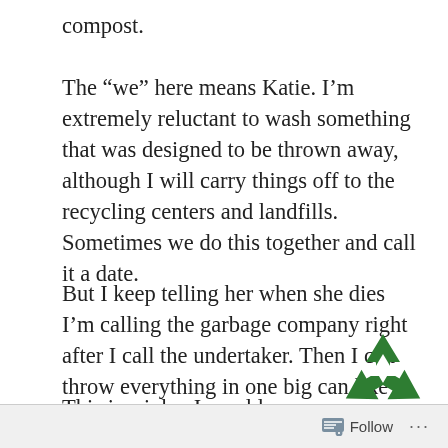compost.
The “we” here means Katie. I’m extremely reluctant to wash something that was designed to be thrown away, although I will carry things off to the recycling centers and landfills. Sometimes we do this together and call it a date.
But I keep telling her when she dies I’m calling the garbage company right after I call the undertaker. Then I can throw everything in one big can like everybody else.
This is a joke. I would
[Figure (logo): Green recycling symbol (triangular arrows forming a recycle logo)]
Follow ...